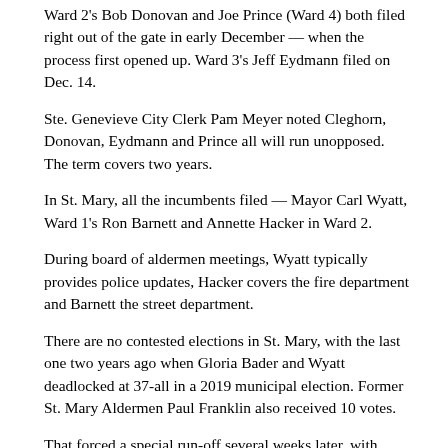Ward 2's Bob Donovan and Joe Prince (Ward 4) both filed right out of the gate in early December — when the process first opened up. Ward 3's Jeff Eydmann filed on Dec. 14.
Ste. Genevieve City Clerk Pam Meyer noted Cleghorn, Donovan, Eydmann and Prince all will run unopposed. The term covers two years.
In St. Mary, all the incumbents filed — Mayor Carl Wyatt, Ward 1's Ron Barnett and Annette Hacker in Ward 2.
During board of aldermen meetings, Wyatt typically provides police updates, Hacker covers the fire department and Barnett the street department.
There are no contested elections in St. Mary, with the last one two years ago when Gloria Bader and Wyatt deadlocked at 37-all in a 2019 municipal election. Former St. Mary Aldermen Paul Franklin also received 10 votes.
That forced a special run-off several weeks later, with Wyatt defeating Bader, 58-45.
Wyatt is currently serving a third term as mayor, which includes a